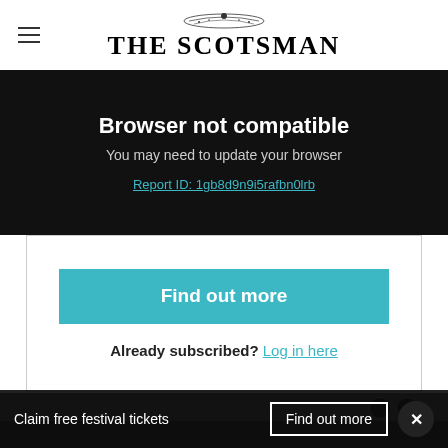THE SCOTSMAN
Browser not compatible
You may need to update your browser
Report ID: 1gb8d9n9i5rafbn0lrb
Find out more
Already subscribed? Log in here
Claim free festival tickets  Find out more